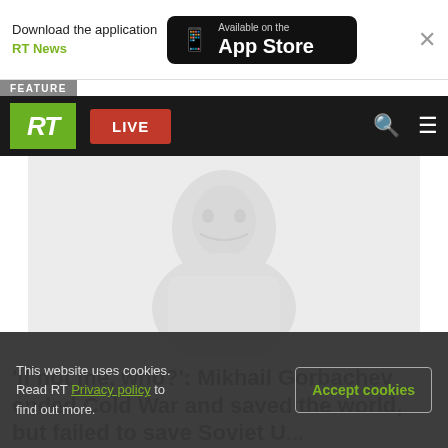Download the application RT News — Available on the App Store
FEATURE
RT LIVE
[Figure (photo): Faded/ghosted portrait photograph of Mikhail Gorbachev on a light grey background]
'If not me, who?': Mikhail Gorbachev ended Cold War and saved the world, but failed to save Soviet U...
This website uses cookies. Read RT Privacy policy to find out more.
Accept cookies